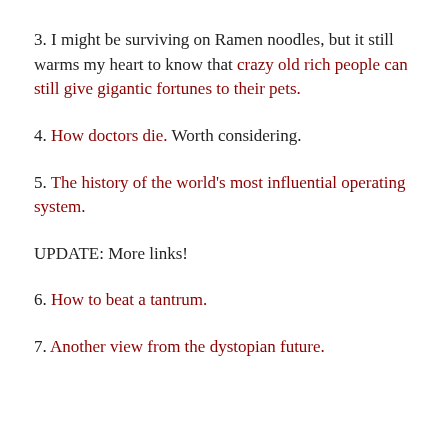3. I might be surviving on Ramen noodles, but it still warms my heart to know that crazy old rich people can still give gigantic fortunes to their pets.
4. How doctors die. Worth considering.
5. The history of the world's most influential operating system.
UPDATE: More links!
6. How to beat a tantrum.
7. Another view from the dystopian future.